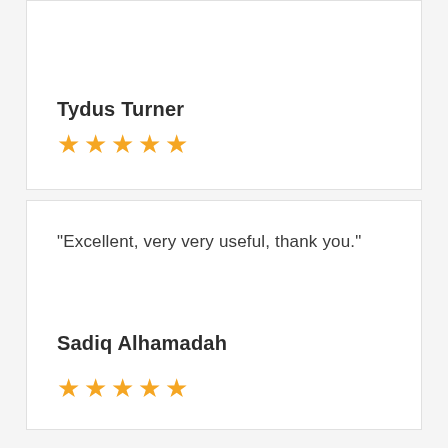Tydus Turner
★★★★★
"Excellent, very very useful, thank you."
Sadiq Alhamadah
★★★★★